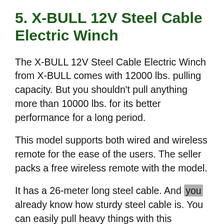5. X-BULL 12V Steel Cable Electric Winch
The X-BULL 12V Steel Cable Electric Winch from X-BULL comes with 12000 lbs. pulling capacity. But you shouldn’t pull anything more than 10000 lbs. for its better performance for a long period.
This model supports both wired and wireless remote for the ease of the users. The seller packs a free wireless remote with the model.
It has a 26-meter long steel cable. And you already know how sturdy steel cable is. You can easily pull heavy things with this